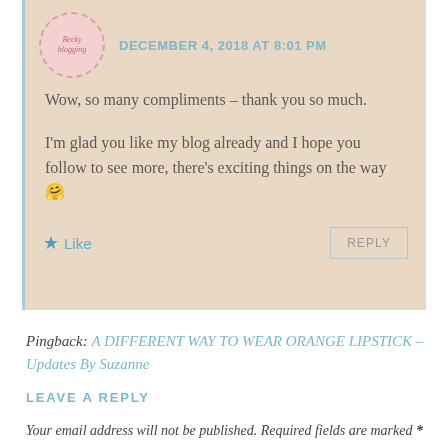DECEMBER 4, 2018 AT 8:01 PM
Wow, so many compliments – thank you so much.
I'm glad you like my blog already and I hope you follow to see more, there's exciting things on the way 🤗
★ Like  REPLY
Pingback: A DIFFERENT WAY TO WEAR ORANGE LIPSTICK – Updates By Suzanne
LEAVE A REPLY
Your email address will not be published. Required fields are marked *